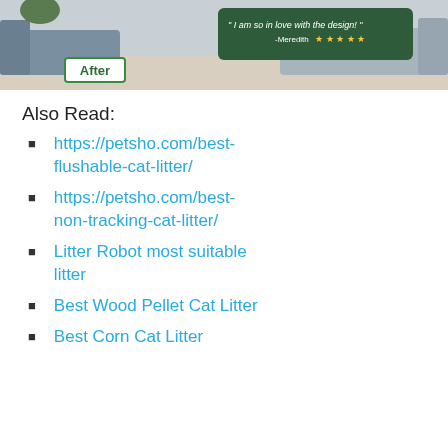[Figure (photo): Interior room photo showing a sofa with an 'After' label overlay and a green testimonial quote bubble reading 'I am so in love with the design! -Meredith' with five stars.]
Also Read:
https://petsho.com/best-flushable-cat-litter/
https://petsho.com/best-non-tracking-cat-litter/
Litter Robot most suitable litter
Best Wood Pellet Cat Litter
Best Corn Cat Litter